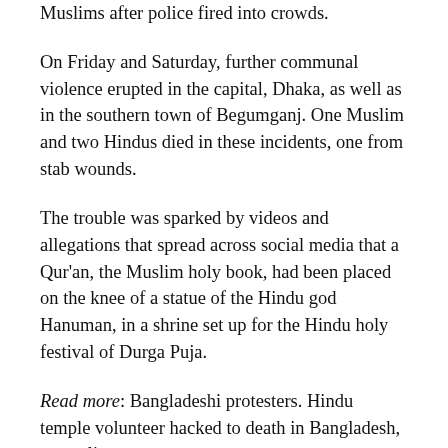Muslims after police fired into crowds.
On Friday and Saturday, further communal violence erupted in the capital, Dhaka, as well as in the southern town of Begumganj. One Muslim and two Hindus died in these incidents, one from stab wounds.
The trouble was sparked by videos and allegations that spread across social media that a Qur’an, the Muslim holy book, had been placed on the knee of a statue of the Hindu god Hanuman, in a shrine set up for the Hindu holy festival of Durga Puja.
Read more: Bangladeshi protesters. Hindu temple volunteer hacked to death in Bangladesh, say police
After the video went viral on Facebook earlier this week, mobs of more than 500 people gathered in Cumilla and neighbouring districts over the alleged blasphemy. About 10 Hindu temples and shrines were attacked and vandalised by